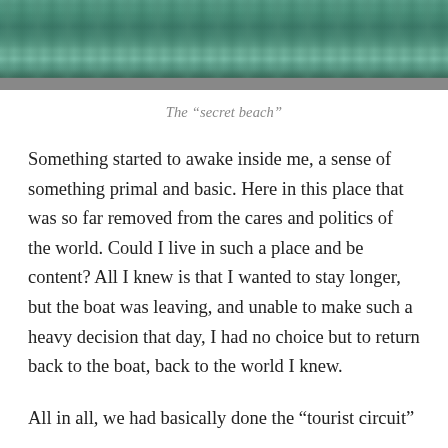[Figure (photo): Aerial or close-up view of turquoise-green ocean water surface, with a grey border strip at the bottom of the image.]
The “secret beach”
Something started to awake inside me, a sense of something primal and basic. Here in this place that was so far removed from the cares and politics of the world. Could I live in such a place and be content? All I knew is that I wanted to stay longer, but the boat was leaving, and unable to make such a heavy decision that day, I had no choice but to return back to the boat, back to the world I knew.
All in all, we had basically done the “tourist circuit”